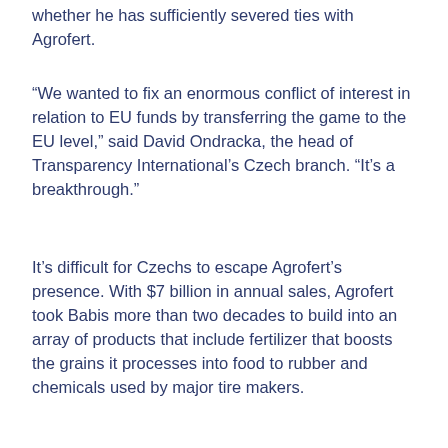whether he has sufficiently severed ties with Agrofert.
“We wanted to fix an enormous conflict of interest in relation to EU funds by transferring the game to the EU level,” said David Ondracka, the head of Transparency International’s Czech branch. “It’s a breakthrough.”
It’s difficult for Czechs to escape Agrofert’s presence. With $7 billion in annual sales, Agrofert took Babis more than two decades to build into an array of products that include fertilizer that boosts the grains it processes into food to rubber and chemicals used by major tire makers.